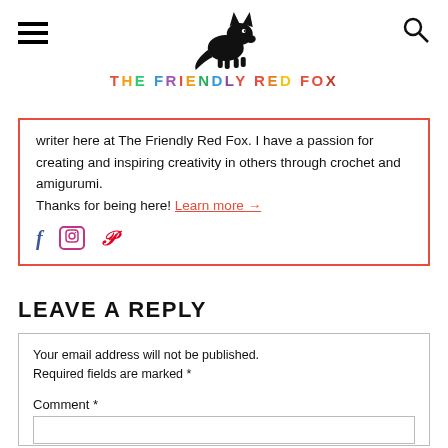THE FRIENDLY RED FOX
writer here at The Friendly Red Fox. I have a passion for creating and inspiring creativity in others through crochet and amigurumi. Thanks for being here! Learn more →
LEAVE A REPLY
Your email address will not be published. Required fields are marked *
Comment *